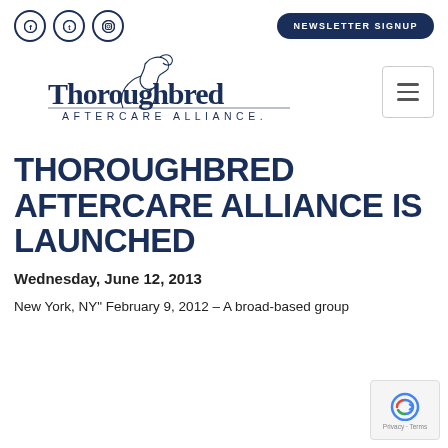Social icons (Facebook, Twitter, Instagram) | NEWSLETTER SIGNUP
[Figure (logo): Thoroughbred Aftercare Alliance logo with horse illustration and text]
THOROUGHBRED AFTERCARE ALLIANCE IS LAUNCHED
Wednesday, June 12, 2013
New York, NY" February 9, 2012 – A broad-based group